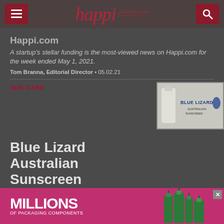happi — Household & Personal Products Industry
Happi.com
A startup's stellar funding is the most-viewed news on Happi.com for the week ended May 1, 2021.
Tom Branna, Editorial Director • 05.02.21
SUN CARE
[Figure (photo): Blue Lizard Australian Sunscreen product image with brand logo]
Blue Lizard Australian Sunscreen Expands to
[Figure (infographic): Advertisement banner: MILLIONS OF PACKAGING COMPONENTS with product images]